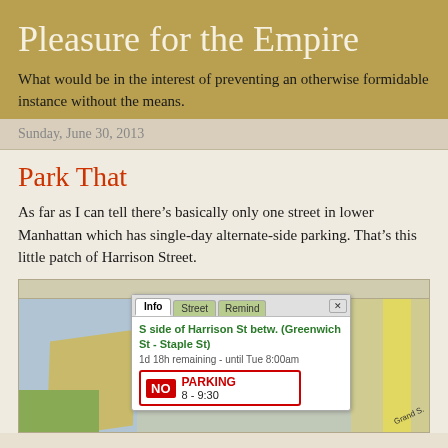Pleasure for the Empire
What would be in the interest of preventing an otherwise formidable instance without the means.
Sunday, June 30, 2013
Park That
As far as I can tell there's basically only one street in lower Manhattan which has single-day alternate-side parking. That's this little patch of Harrison Street.
[Figure (screenshot): Screenshot of a parking app showing a map with an info popup for 'S side of Harrison St betw. (Greenwich St - Staple St)', showing '1d 18h remaining - until Tue 8:00am' and a NO PARKING sign.]